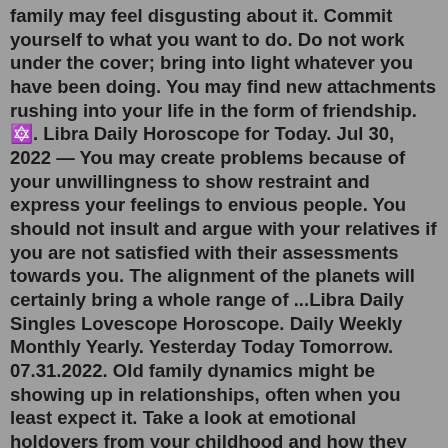family may feel disgusting about it. Commit yourself to what you want to do. Do not work under the cover; bring into light whatever you have been doing. You may find new attachments rushing into your life in the form of friendship.🔯. Libra Daily Horoscope for Today. Jul 30, 2022 — You may create problems because of your unwillingness to show restraint and express your feelings to envious people. You should not insult and argue with your relatives if you are not satisfied with their assessments towards you. The alignment of the planets will certainly bring a whole range of ...Libra Daily Singles Lovescope Horoscope. Daily Weekly Monthly Yearly. Yesterday Today Tomorrow. 07.31.2022. Old family dynamics might be showing up in relationships, often when you least expect it. Take a look at emotional holdovers from your childhood and how they might be adversely affecting matters of the heart. Feeling lost?Jul 27, 2022 · libra Love Horoscope: Tomorrow. Yesterday. Today. Tomorrow. 2022. Jul 31, 2022 - Today is the